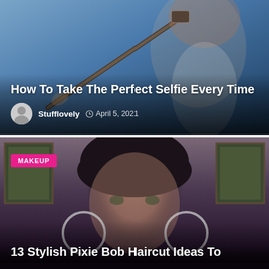[Figure (photo): Article card showing a woman taking a selfie with a selfie stick against a blue/dusk sky background. White bold title text overlaid at bottom left: 'How To Take The Perfect Selfie Every Time'. Author avatar (generic user icon), name 'Stufflovely', and date 'April 5, 2021' shown below title.]
How To Take The Perfect Selfie Every Time
Stufflovely   April 5, 2021
[Figure (photo): Article card showing a woman with short dark pixie bob haircut, prominent hoop earrings, wearing makeup, with framed artwork visible in background. Pink 'MAKEUP' badge top left. White bold title text overlaid at bottom: '13 Stylish Pixie Bob Haircut Ideas To']
MAKEUP
13 Stylish Pixie Bob Haircut Ideas To